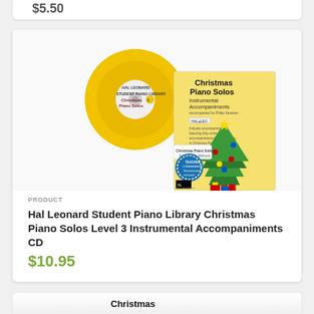$5.50
[Figure (photo): Product image showing Christmas Piano Solos Level 3 Instrumental Accompaniments CD with a yellow CD and book featuring a decorated Christmas tree on the cover, published by Hal Leonard]
PRODUCT
Hal Leonard Student Piano Library Christmas Piano Solos Level 3 Instrumental Accompaniments CD
$10.95
[Figure (photo): Partial view of another Christmas-themed product at the bottom of the page]